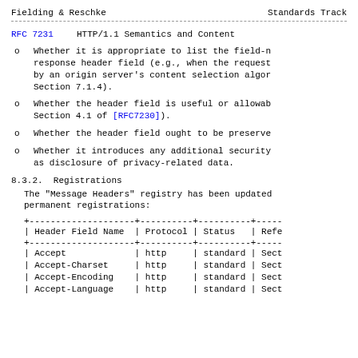Fielding & Reschke                     Standards Track
RFC 7231          HTTP/1.1 Semantics and Content
o  Whether it is appropriate to list the field-n response header field (e.g., when the request by an origin server's content selection algor Section 7.1.4).
o  Whether the header field is useful or allowab Section 4.1 of [RFC7230]).
o  Whether the header field ought to be preserve
o  Whether it introduces any additional security as disclosure of privacy-related data.
8.3.2.  Registrations
The "Message Headers" registry has been updated permanent registrations:
| Header Field Name | Protocol | Status | Refe |
| --- | --- | --- | --- |
| Accept | http | standard | Sect |
| Accept-Charset | http | standard | Sect |
| Accept-Encoding | http | standard | Sect |
| Accept-Language | http | standard | Sect |